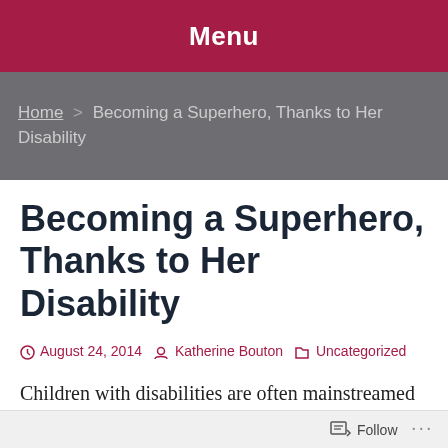Menu
Home > Becoming a Superhero, Thanks to Her Disability
Becoming a Superhero, Thanks to Her Disability
August 24, 2014  Katherine Bouton  Uncategorized
Children with disabilities are often mainstreamed into regular classrooms these